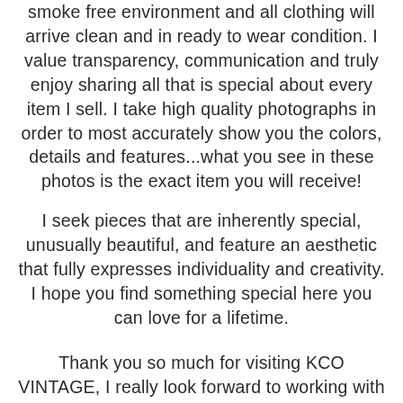smoke free environment and all clothing will arrive clean and in ready to wear condition. I value transparency, communication and truly enjoy sharing all that is special about every item I sell. I take high quality photographs in order to most accurately show you the colors, details and features...what you see in these photos is the exact item you will receive!
I seek pieces that are inherently special, unusually beautiful, and feature an aesthetic that fully expresses individuality and creativity. I hope you find something special here you can love for a lifetime.
Thank you so much for visiting KCO VINTAGE, I really look forward to working with you!